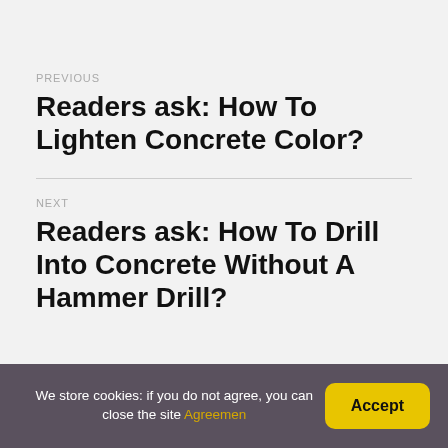PREVIOUS
Readers ask: How To Lighten Concrete Color?
NEXT
Readers ask: How To Drill Into Concrete Without A Hammer Drill?
We store cookies: if you do not agree, you can close the site Agreemen